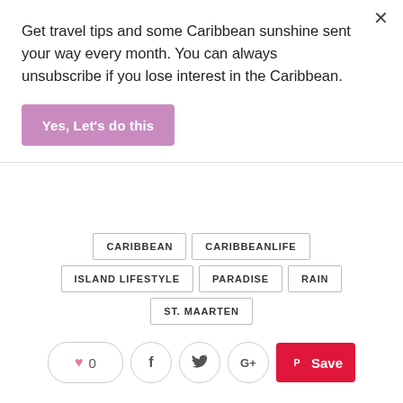Get travel tips and some Caribbean sunshine sent your way every month. You can always unsubscribe if you lose interest in the Caribbean.
Yes, Let's do this
CARIBBEAN
CARIBBEANLIFE
ISLAND LIFESTYLE
PARADISE
RAIN
ST. MAARTEN
0
Save